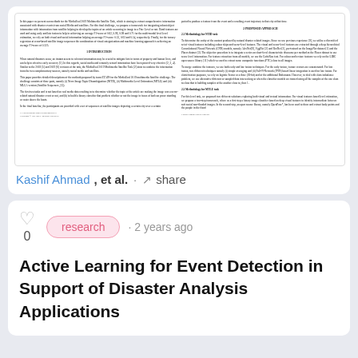[Figure (screenshot): Thumbnail preview of a scientific paper with two columns of dense text, including sections like Introduction and Proposed Approach]
Kashif Ahmad, et al. · share
research · 2 years ago
Active Learning for Event Detection in Support of Disaster Analysis Applications